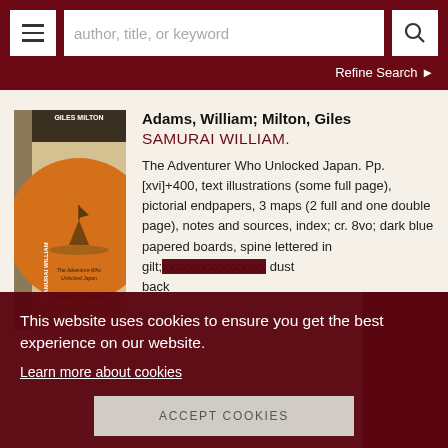author, title, or keyword | Refine Search
[Figure (photo): Book cover of Samurai William by Giles Milton, showing an orange circular design with a sailing ship, spine text reading SAMURAI WILLIAM and GILES MILTON]
Adams, William; Milton, Giles
SAMURAI WILLIAM.
The Adventurer Who Unlocked Japan. Pp. [xvi]+400, text illustrations (some full page), pictorial endpapers, 3 maps (2 full and one double page), notes and sources, index; cr. 8vo; dark blue papered boards, spine lettered in gilt; dust back
This website uses cookies to ensure you get the best experience on our website. Learn more about cookies
ACCEPT COOKIES